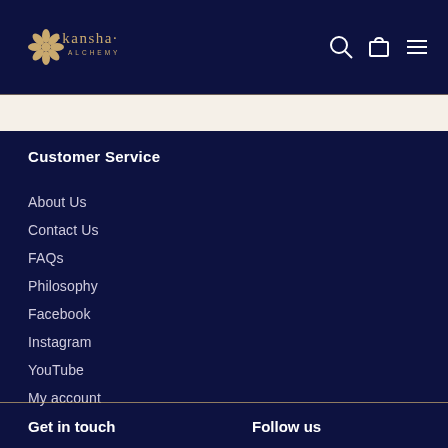kansha ALCHEMY — navigation header with search, cart, and menu icons
Customer Service
About Us
Contact Us
FAQs
Philosophy
Facebook
Instagram
YouTube
My account
Get in touch
Follow us